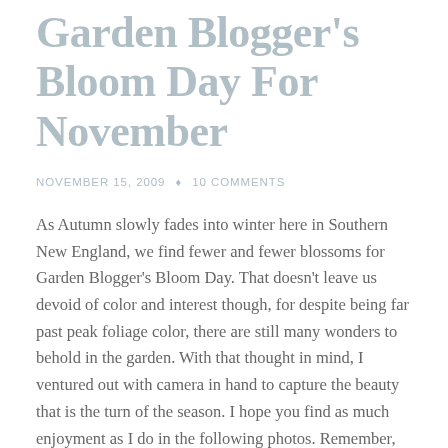Garden Blogger's Bloom Day For November
NOVEMBER 15, 2009  •  10 COMMENTS
As Autumn slowly fades into winter here in Southern New England, we find fewer and fewer blossoms for Garden Blogger's Bloom Day. That doesn't leave us devoid of color and interest though, for despite being far past peak foliage color, there are still many wonders to behold in the garden. With that thought in mind, I ventured out with camera in hand to capture the beauty that is the turn of the season. I hope you find as much enjoyment as I do in the following photos. Remember, you can click on each to see a larger version.
Though the Bee covered yellow frosting from late summer has passed, the spent flower heads of Goldenrod